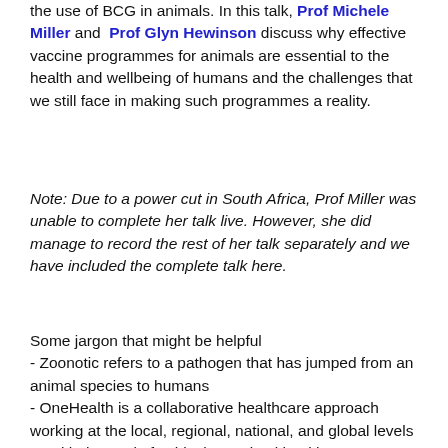the use of BCG in animals. In this talk, Prof Michele Miller and Prof Glyn Hewinson discuss why effective vaccine programmes for animals are essential to the health and wellbeing of humans and the challenges that we still face in making such programmes a reality.
Note: Due to a power cut in South Africa, Prof Miller was unable to complete her talk live. However, she did manage to record the rest of her talk separately and we have included the complete talk here.
Some jargon that might be helpful - Zoonotic refers to a pathogen that has jumped from an animal species to humans - OneHealth is a collaborative healthcare approach working at the local, regional, national, and global levels — with the goal of achieving optimal health outcomes recognizing the interconnection between people, animals, plants, and their shared